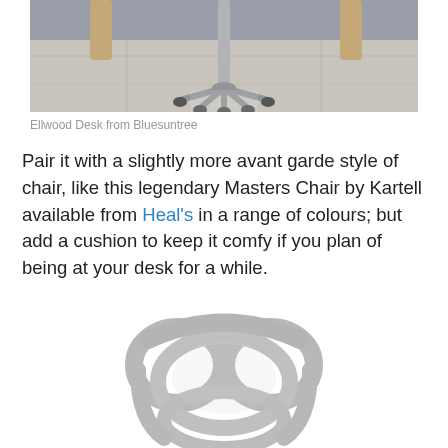[Figure (photo): Bottom portion of a desk with metal caster wheels on a tiled floor, with wooden chair legs visible in the background against a grey wall. Ellwood Desk from Bluesuntree.]
Ellwood Desk from Bluesuntree
Pair it with a slightly more avant garde style of chair, like this legendary Masters Chair by Kartell available from Heal's in a range of colours; but add a cushion to keep it comfy if you plan of being at your desk for a while.
[Figure (photo): Grey Masters Chair by Kartell viewed from above/front, showing its distinctive sculptural backrest with overlapping circular forms.]